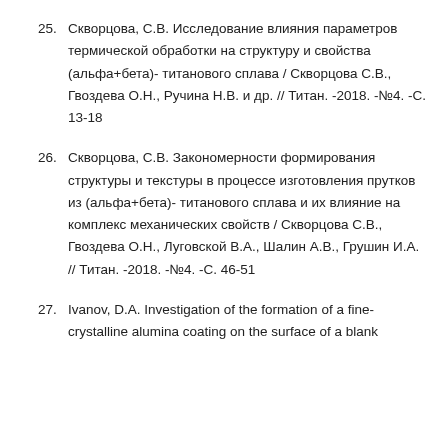25. Скворцова, С.В. Исследование влияния параметров термической обработки на структуру и свойства (альфа+бета)- титанового сплава / Скворцова С.В., Гвоздева О.Н., Ручина Н.В. и др. // Титан. -2018. -№4. -С. 13-18
26. Скворцова, С.В. Закономерности формирования структуры и текстуры в процессе изготовления прутков из (альфа+бета)- титанового сплава и их влияние на комплекс механических свойств / Скворцова С.В., Гвоздева О.Н., Луговской В.А., Шалин А.В., Грушин И.А. // Титан. -2018. -№4. -С. 46-51
27. Ivanov, D.A. Investigation of the formation of a fine-crystalline alumina coating on the surface of a blank...